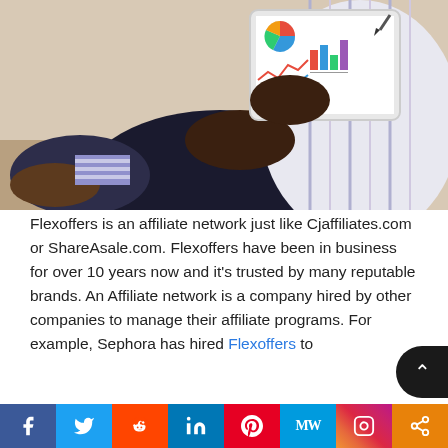[Figure (photo): A Black man in a striped shirt sitting in a chair, holding a tablet/iPad displaying colorful charts and graphs. He is wearing brown shoes and striped socks.]
Flexoffers is an affiliate network just like Cjaffiliates.com or ShareAsale.com. Flexoffers have been in business for over 10 years now and it's trusted by many reputable brands. An Affiliate network is a company hired by other companies to manage their affiliate programs. For example, Sephora has hired Flexoffers to